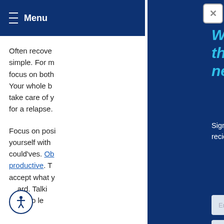≡ Menu
Often recove simple. For m focus on both Your whole b take care of y for a relapse.
Focus on posi yourself with could'ves. Ob productive. T accept what y ard. Talki you to le
Welcome to the neighborhood.
Sign up for exclusive offers and content and recieve 5% OFF your next order.
Enter your name
Enter your phone number